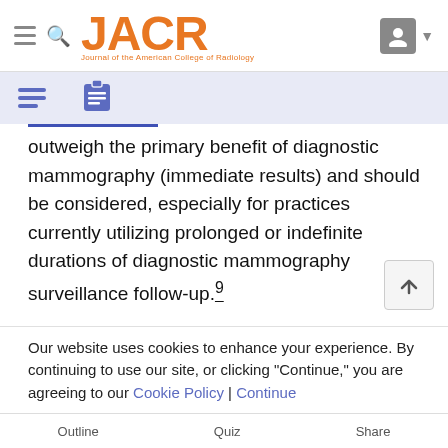JACR - Journal of the American College of Radiology
outweigh the primary benefit of diagnostic mammography (immediate results) and should be considered, especially for practices currently utilizing prolonged or indefinite durations of diagnostic mammography surveillance follow-up.9
Limitations in our study are as follows. This study was performed at a single multisite academic institution, and results may not be generalizable to other settings. Patients who did not present consistently for annual
Our website uses cookies to enhance your experience. By continuing to use our site, or clicking "Continue," you are agreeing to our Cookie Policy | Continue
Outline   Quiz   Share